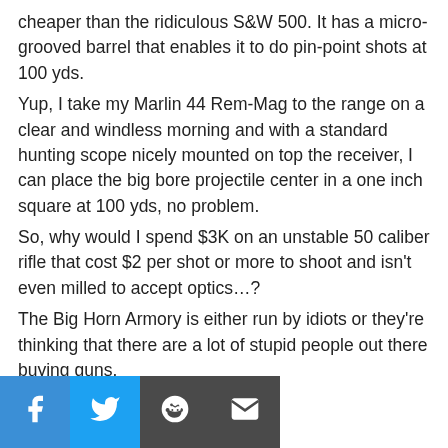cheaper than the ridiculous S&W 500. It has a micro-grooved barrel that enables it to do pin-point shots at 100 yds.
Yup, I take my Marlin 44 Rem-Mag to the range on a clear and windless morning and with a standard hunting scope nicely mounted on top the receiver, I can place the big bore projectile center in a one inch square at 100 yds, no problem.
So, why would I spend $3K on an unstable 50 caliber rifle that cost $2 per shot or more to shoot and isn't even milled to accept optics…?
The Big Horn Armory is either run by idiots or they're thinking that there are a lot of stupid people out there buying guns.
Social share bar: Facebook, Twitter, Reddit, Email